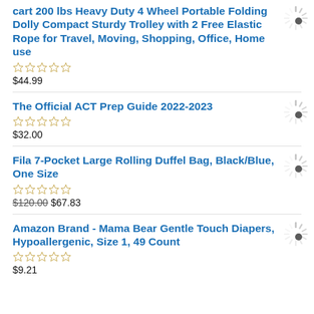cart 200 lbs Heavy Duty 4 Wheel Portable Folding Dolly Compact Sturdy Trolley with 2 Free Elastic Rope for Travel, Moving, Shopping, Office, Home use
☆☆☆☆☆
$44.99
The Official ACT Prep Guide 2022-2023
☆☆☆☆☆
$32.00
Fila 7-Pocket Large Rolling Duffel Bag, Black/Blue, One Size
☆☆☆☆☆
$120.00 $67.83
Amazon Brand - Mama Bear Gentle Touch Diapers, Hypoallergenic, Size 1, 49 Count
☆☆☆☆☆
$9.21